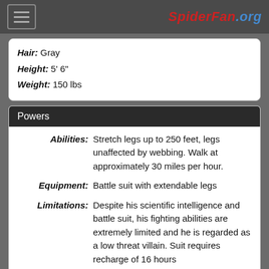SpiderFan.org
| Hair: | Gray |
| Height: | 5' 6" |
| Weight: | 150 lbs |
Powers
| Abilities: | Stretch legs up to 250 feet, legs unaffected by webbing. Walk at approximately 30 miles per hour. |
| Equipment: | Battle suit with extendable legs |
| Limitations: | Despite his scientific intelligence and battle suit, his fighting abilities are extremely limited and he is regarded as a low threat villain. Suit requires recharge of 16 hours |